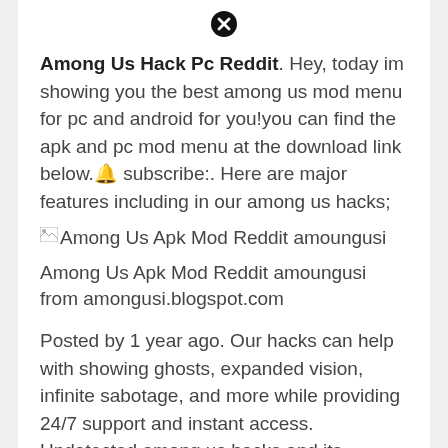[Figure (other): Close/cancel button icon (black circle with X)]
Among Us Hack Pc Reddit. Hey, today im showing you the best among us mod menu for pc and android for you!you can find the apk and pc mod menu at the download link below.🔔 subscribe:. Here are major features including in our among us hacks;
[Figure (other): Broken image placeholder with alt text: Among Us Apk Mod Reddit amoungusi]
Among Us Apk Mod Reddit amoungusi from amongusi.blogspot.com
Posted by 1 year ago. Our hacks can help with showing ghosts, expanded vision, infinite sabotage, and more while providing 24/7 support and instant access. Undetected among us hacks and its features.
[Figure (other): Close/cancel button icon (black circle with X) at bottom]